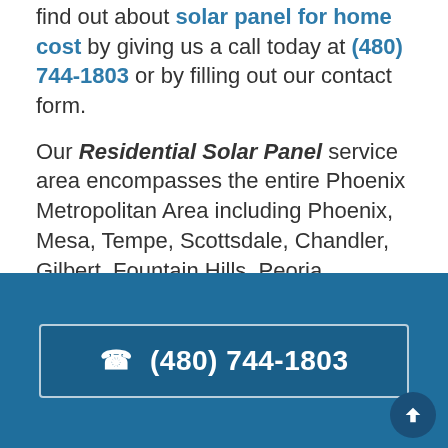find out about solar panel for home cost by giving us a call today at (480) 744-1803 or by filling out our contact form.
Our Residential Solar Panel service area encompasses the entire Phoenix Metropolitan Area including Phoenix, Mesa, Tempe, Scottsdale, Chandler, Gilbert, Fountain Hills, Peoria, Surprise, Sun City, Youngtown, Arizona cities.
(480) 744-1803